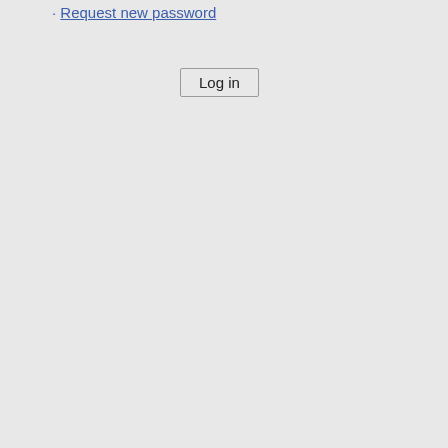Request new password
Log in
| Artist | Date |
| --- | --- |
| Duke Ellington & His Washingtonians | 01/19/192 |
| Duke Ellington & His Washingtonians | 01/20/192 |
| Duke Ellington & His Washingtonians | 01/21/192 |
| Duke Ellington & His Washingtonians | 01/22/192 |
| Morgan College vs. Renaissance Club of NY | 01/22/192 |
| Jelly Roll Morton | 01/23/192 |
| Duke Ellington & His Washingtonians | 01/23/192 |
| Duke Ellington & His Washingtonians | 01/24/192 |
| Jelly Roll Morton | 01/24/192 |